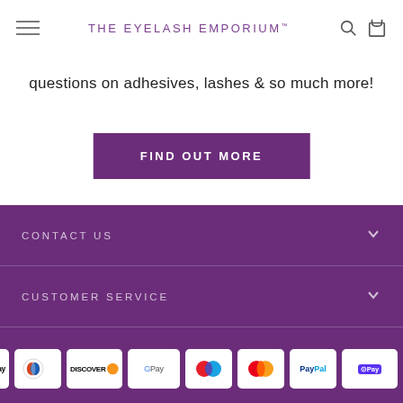THE EYELASH EMPORIUM
questions on adhesives, lashes & so much more!
FIND OUT MORE
CONTACT US
CUSTOMER SERVICE
ABOUT US
SIGN UP AND SAVE
[Figure (other): Payment method icons: Apple Pay, Diners Club, Discover, Google Pay, Maestro, Mastercard, PayPal, Shop Pay, Visa]